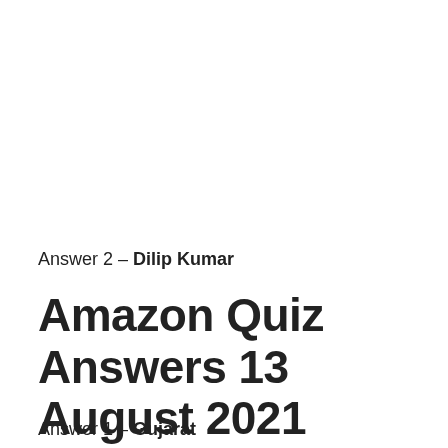Answer 2 – Dilip Kumar
Amazon Quiz Answers 13 August 2021
Answer 1 – Gujarat